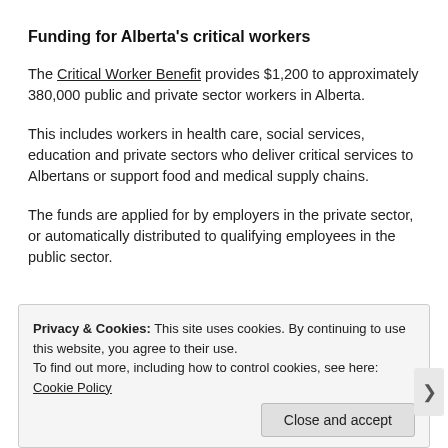Funding for Alberta's critical workers
The Critical Worker Benefit provides $1,200 to approximately 380,000 public and private sector workers in Alberta.
This includes workers in health care, social services, education and private sectors who deliver critical services to Albertans or support food and medical supply chains.
The funds are applied for by employers in the private sector, or automatically distributed to qualifying employees in the public sector.
Privacy & Cookies: This site uses cookies. By continuing to use this website, you agree to their use.
To find out more, including how to control cookies, see here: Cookie Policy
Close and accept